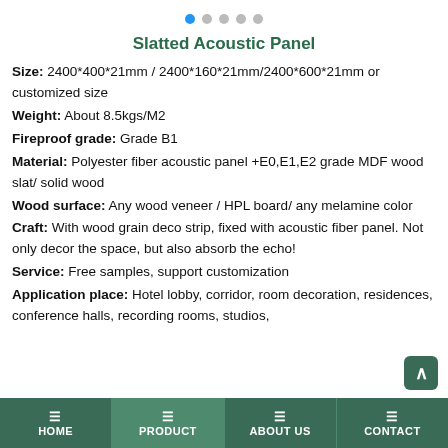[Figure (other): Pagination dots: one blue active dot followed by four grey inactive dots]
Slatted Acoustic Panel
Size: 2400*400*21mm / 2400*160*21mm/2400*600*21mm or customized size
Weight: About 8.5kgs/M2
Fireproof grade: Grade B1
Material: Polyester fiber acoustic panel +E0,E1,E2 grade MDF wood slat/ solid wood
Wood surface: Any wood veneer / HPL board/ any melamine color
Craft: With wood grain deco strip, fixed with acoustic fiber panel. Not only decor the space, but also absorb the echo!
Service: Free samples, support customization
Application place: Hotel lobby, corridor, room decoration, residences, conference halls, recording rooms, studios,
HOME  PRODUCT  ABOUT US  CONTACT